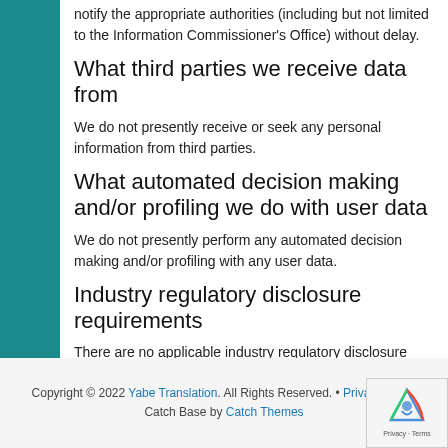notify the appropriate authorities (including but not limited to the Information Commissioner's Office) without delay.
What third parties we receive data from
We do not presently receive or seek any personal information from third parties.
What automated decision making and/or profiling we do with user data
We do not presently perform any automated decision making and/or profiling with any user data.
Industry regulatory disclosure requirements
There are no applicable industry regulatory disclosure requirements.
Copyright © 2022 Yabe Translation. All Rights Reserved. • Privacy policy
Catch Base by Catch Themes